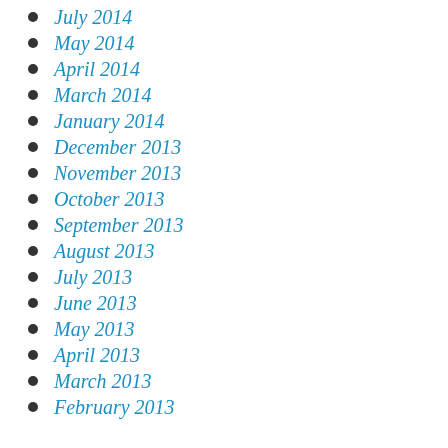July 2014
May 2014
April 2014
March 2014
January 2014
December 2013
November 2013
October 2013
September 2013
August 2013
July 2013
June 2013
May 2013
April 2013
March 2013
February 2013